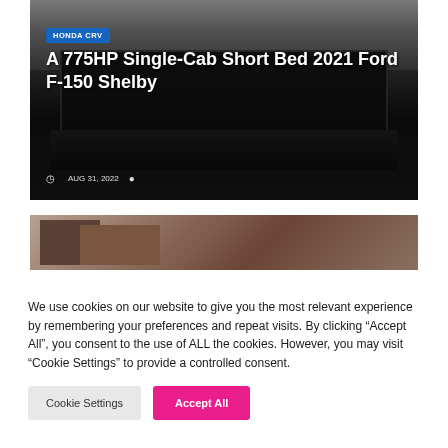[Figure (photo): Front view of a dark/black pickup truck (Ford F-150 Shelby), close-up of the grille and front bumper, with overlaid text and badge]
HONDA CRV
A 775HP Single-Cab Short Bed 2021 Ford F-150 Shelby
AUG 31, 2022
[Figure (photo): Partial view of urban buildings with brick facades against a blue sky]
We use cookies on our website to give you the most relevant experience by remembering your preferences and repeat visits. By clicking “Accept All”, you consent to the use of ALL the cookies. However, you may visit "Cookie Settings" to provide a controlled consent.
Cookie Settings   Accept All